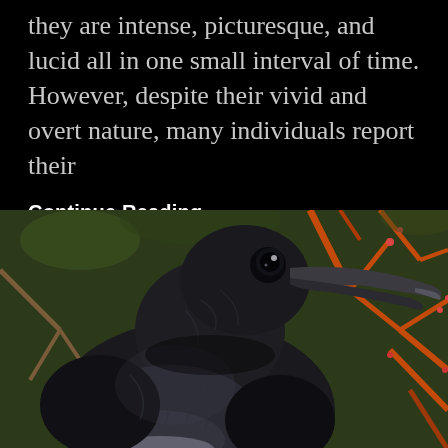they are intense, picturesque, and lucid all in one small interval of time. However, despite their vivid and overt nature, many individuals report their
Continue Reading →
[Figure (photo): Close-up photograph of a raven with dark grey-black plumage and a large curved beak, set against a background of orange-red branches and green foliage.]